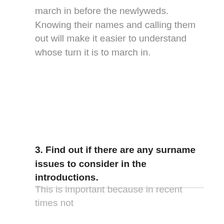march in before the newlyweds. Knowing their names and calling them out will make it easier to understand whose turn it is to march in.
3. Find out if there are any surname issues to consider in the introductions.
This is important because in recent times not